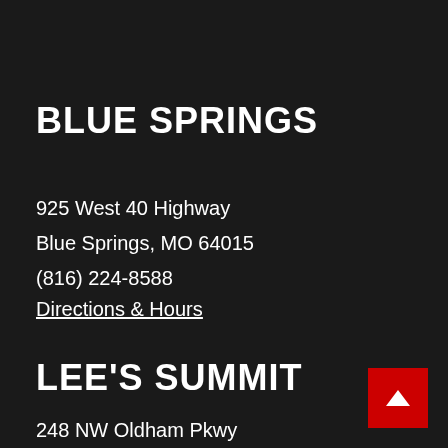BLUE SPRINGS
925 West 40 Highway
Blue Springs, MO 64015
(816) 224-8588
Directions & Hours
LEE'S SUMMIT
248 NW Oldham Pkwy
Lee's Summit, MO 64081